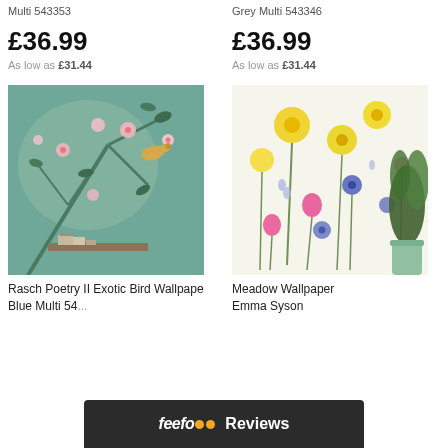Multi 543353
Grey Multi 543346
£36.99
£36.99
As low as £31.44
As low as £31.44
[Figure (photo): Rasch Poetry II Exotic Bird Wallpaper in Blue Multi — floral and bird motif on teal background]
[Figure (photo): Meadow Wallpaper by Emma Syson — colorful meadow flowers on white background]
Rasch Poetry II Exotic Bird Wallpaper Blue Multi 54...
Meadow Wallpaper Emma Syson
feefo Reviews